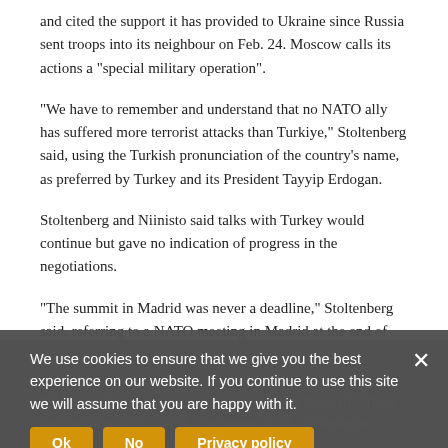and cited the support it has provided to Ukraine since Russia sent troops into its neighbour on Feb. 24. Moscow calls its actions a "special military operation".
"We have to remember and understand that no NATO ally has suffered more terrorist attacks than Turkiye," Stoltenberg said, using the Turkish pronunciation of the country's name, as preferred by Turkey and its President Tayyip Erdogan.
Stoltenberg and Niinisto said talks with Turkey would continue but gave no indication of progress in the negotiations.
"The summit in Madrid was never a deadline," Stoltenberg said, referring to a NATO meeting in Madrid at the end of June.
Source: US News & World Report
We use cookies to ensure that we give you the best experience on our website. If you continue to use this site we will assume that you are happy with it.
Niinisto while visiting him at his residence in Naantali, "These are legitimate concerns. It is about terrorism, it's about weapons exports, NATO Secretary-General Jens Stoltenberg s